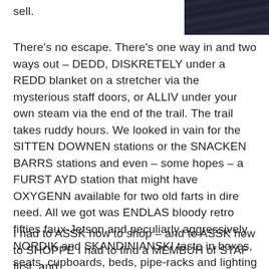[Figure (photo): Partial dark image showing what appears to be vertical shapes or structures against a dark background, cropped to top-right corner]
sell.
There's no escape. There's one way in and two ways out – DEDD, DISKRETELY under a REDD blanket on a stretcher via the mysterious staff doors, or ALLIV under your own steam via the end of the trail. The trail takes ruddy hours. We looked in vain for the SITTEN DOWNEN stations or the SNACKEN BARRS stations and even – some hopes – a FURST AYD station that might have OXYGENN available for two old farts in dire need. All we got was ENDLAS bloody retro fifties faux-Jetson and peculiarly aggressively NORDIK and SKANDINIANSKI taste in boxes, seats, cupboards, beds, pipe-racks and lighting FIXTURS.
I had to ASSK how to shop – and to ASSK how to SHOPPE I had to find a MEMBUH of STAF first, and